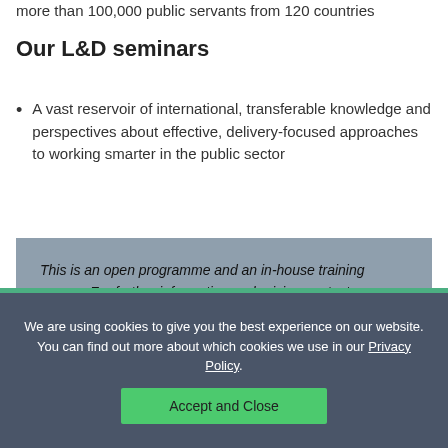more than 100,000 public servants from 120 countries
Our L&D seminars
A vast reservoir of international, transferable knowledge and perspectives about effective, delivery-focused approaches to working smarter in the public sector
This is an open programme and an in-house training course. For further information and pricing contact david.leakey@pendragonim.com or phone on +44 20 7661 7817.
We are using cookies to give you the best experience on our website. You can find out more about which cookies we use in our Privacy Policy.